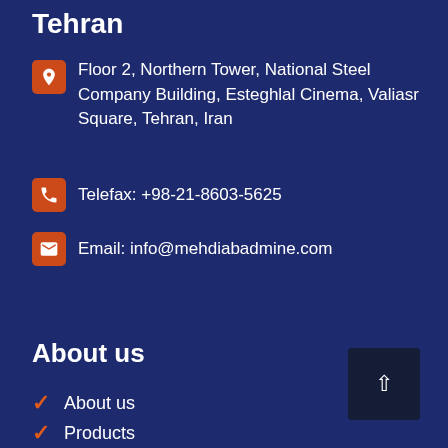Tehran
Floor 2, Northern Tower, National Steel Company Building, Esteghlal Cinema, Valiasr Square, Tehran, Iran
Telefax: +98-21-8603-5625
Email: info@mehdiabadmine.com
About us
About us
Products
Gallery
Managers